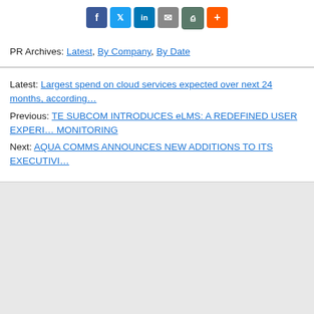[Figure (other): Social share icons: Facebook, Twitter, LinkedIn, Email, Print, More (+)]
PR Archives: Latest, By Company, By Date
Latest: Largest spend on cloud services expected over next 24 months, according…
Previous: TE SUBCOM INTRODUCES eLMS: A REDEFINED USER EXPERI… MONITORING
Next: AQUA COMMS ANNOUNCES NEW ADDITIONS TO ITS EXECUTIVI…